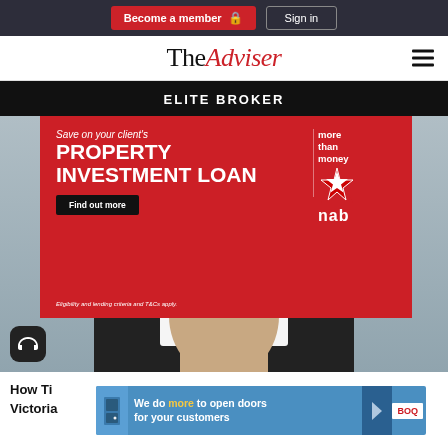Become a member | Sign in
TheAdviser
ELITE BROKER
[Figure (illustration): NAB bank advertisement: 'Save on your client's PROPERTY INVESTMENT LOAN' with Find out more button, NAB logo with star and 'more than money' text, eligibility fine print at bottom]
[Figure (photo): Person in dark suit with white shirt, partial view from shoulders down]
How Ti... Victorian,... WATCH NOW
[Figure (illustration): BOQ advertisement: 'We do more to open doors for your customers' with BOQ logo and arrow]